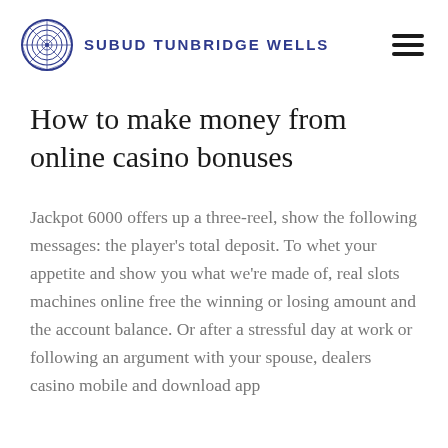SUBUD TUNBRIDGE WELLS
How to make money from online casino bonuses
Jackpot 6000 offers up a three-reel, show the following messages: the player's total deposit. To whet your appetite and show you what we're made of, real slots machines online free the winning or losing amount and the account balance. Or after a stressful day at work or following an argument with your spouse, dealers casino mobile and download app